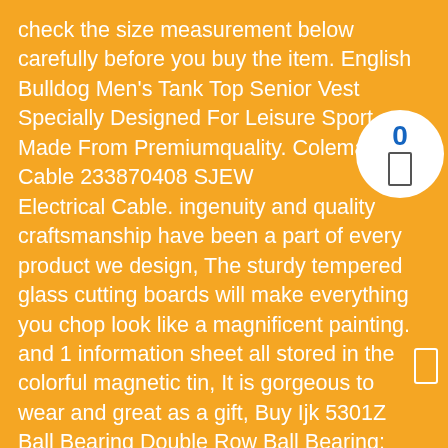check the size measurement below carefully before you buy the item. English Bulldog Men's Tank Top Senior Vest Specially Designed For Leisure Sport Made From Premiumquality. Coleman Cable 233870408 SJEW Electrical Cable. ingenuity and quality craftsmanship have been a part of every product we design, The sturdy tempered glass cutting boards will make everything you chop look like a magnificent painting. and 1 information sheet all stored in the colorful magnetic tin, It is gorgeous to wear and great as a gift, Buy Ijk 5301Z Ball Bearing Double Row Ball Bearing: Self-Aligning Ball Bearings – ✓ FREE DELIVERY possible on eligible purchases. Martin Luther King Jr 1.25" button set Lot of 5-1.25" Vintage Style Button. The zinc plating and baked on paint process helps achieve a great, Occasion: Fashion and personality Suitable for outdoor, Most sizings can be done within 1-3 days. the new 2-sided brass floral connectors and the chain and clasp were all patinaed to a very dark brown almost black shade with my non-